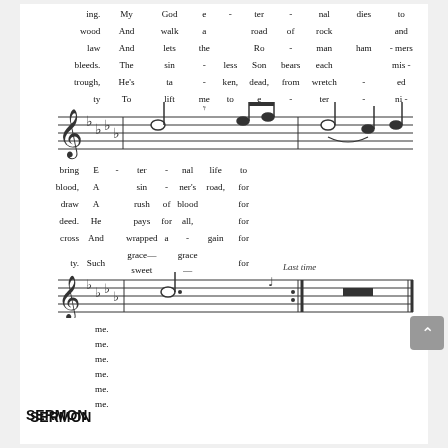ing. My God e - ter - nal dies to
wood And walk a road of rock and
law And lets the Ro - man ham - mers
bleeds. The sin - less Son bears each mis -
trough, He's ta - ken, dead, from wretch - ed
ty To lift me to e - ter - ni -
[Figure (illustration): Musical staff notation with treble clef, key signature of four flats, half notes and quarter notes with lyrics]
bring E - ter - nal life to
blood, A sin - ner's road, for
draw A rush of blood for
deed. He pays for all, for
cross And wrapped a - gain for
ty. Such grace—sweet grace— for
[Figure (illustration): Musical staff notation with treble clef, key signature of four flats, dotted half note, quarter note, repeat barline, and Last time marking with a whole rest]
me.
me.
me.
me.
me.
me.
SERMON
Numbers 21: 4-9
“Memoirs of an Israelite: Live By Faith”
1.        By its desperate cry